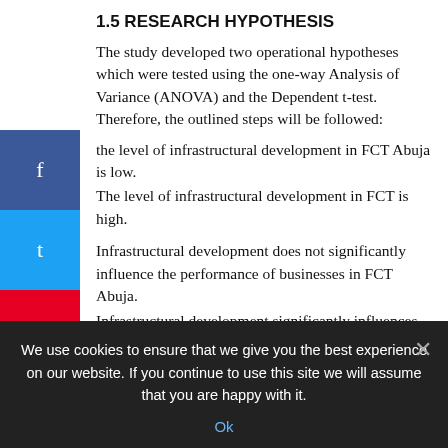1.5 RESEARCH HYPOTHESIS
The study developed two operational hypotheses which were tested using the one-way Analysis of Variance (ANOVA) and the Dependent t-test. Therefore, the outlined steps will be followed:
the level of infrastructural development in FCT Abuja is low.
The level of infrastructural development in FCT is high.
Infrastructural development does not significantly influence the performance of businesses in FCT Abuja.
Infrastructural development significantly influences the performance of businesses FCT Abuja.
1.6 SIGNIFICANCE OF STUDY
Small and Medium scale Enterprises (SMEs) in Africa rely
We use cookies to ensure that we give you the best experience on our website. If you continue to use this site we will assume that you are happy with it.